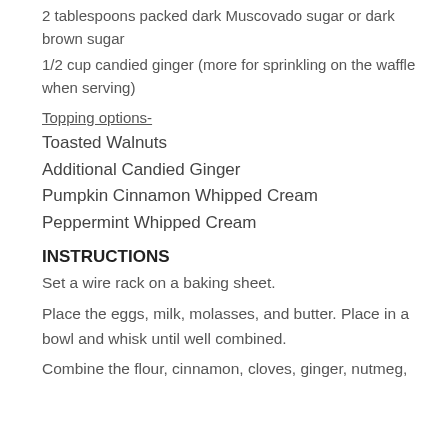2 tablespoons packed dark Muscovado sugar or dark brown sugar
1/2 cup candied ginger (more for sprinkling on the waffle when serving)
Topping options-
Toasted Walnuts
Additional Candied Ginger
Pumpkin Cinnamon Whipped Cream
Peppermint Whipped Cream
INSTRUCTIONS
Set a wire rack on a baking sheet.
Place the eggs, milk, molasses, and butter. Place in a bowl and whisk until well combined.
Combine the flour, cinnamon, cloves, ginger, nutmeg,